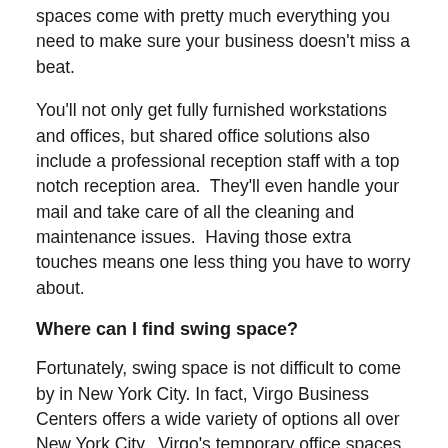spaces come with pretty much everything you need to make sure your business doesn't miss a beat.
You'll not only get fully furnished workstations and offices, but shared office solutions also include a professional reception staff with a top notch reception area.  They'll even handle your mail and take care of all the cleaning and maintenance issues.  Having those extra touches means one less thing you have to worry about.
Where can I find swing space?
Fortunately, swing space is not difficult to come by in New York City. In fact, Virgo Business Centers offers a wide variety of options all over New York City.  Virgo's temporary office spaces are ideal when looking for swing space in NYC.